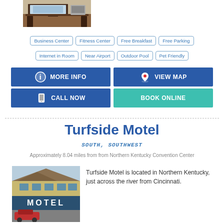[Figure (photo): Photo of a desk with a laptop and chair in a hotel room]
Business Center
Fitness Center
Free Breakfast
Free Parking
Internet in Room
Near Airport
Outdoor Pool
Pet Friendly
MORE INFO
VIEW MAP
CALL NOW
BOOK ONLINE
Turfside Motel
SOUTH, SOUTHWEST
Approximately 8.04 miles from from Northern Kentucky Convention Center
[Figure (photo): Photo of Turfside Motel exterior with MOTEL sign]
Turfside Motel is located in Northern Kentucky, just across the river from Cincinnati.